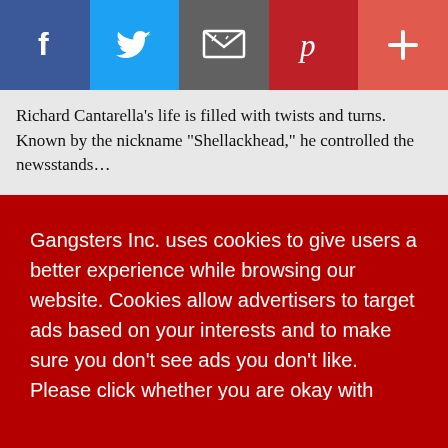[Figure (other): Social sharing bar with Facebook, Twitter, Email, Pinterest, and plus (+) buttons]
Richard Cantarella’s life is filled with twists and turns. Known by the nickname “Shellackhead,” he controlled the newsstands…
Gangsters Inc. uses cookies to give users a better experience while browsing our website. Cookies allow advertisers to target ads based on your interests and to make sure you don’t see ads you don’t like. Please click whether you are okay with using cookies or whether you decline the use of cookies. Learn more
Decline
Got it!